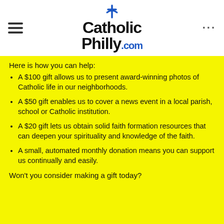CatholicPhilly.com
Here is how you can help:
A $100 gift allows us to present award-winning photos of Catholic life in our neighborhoods.
A $50 gift enables us to cover a news event in a local parish, school or Catholic institution.
A $20 gift lets us obtain solid faith formation resources that can deepen your spirituality and knowledge of the faith.
A small, automated monthly donation means you can support us continually and easily.
Won't you consider making a gift today?